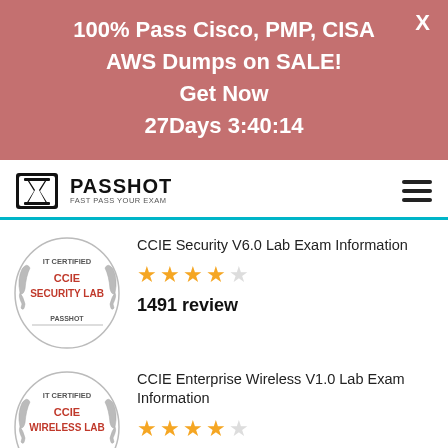100% Pass Cisco, PMP, CISA AWS Dumps on SALE! Get Now 27Days 3:40:14
[Figure (logo): Passhot logo with hourglass icon and tagline FAST PASS YOUR EXAM]
CCIE Security V6.0 Lab Exam Information
[Figure (illustration): IT Certified CCIE Security Lab Passhot badge]
1491 review
CCIE Enterprise Wireless V1.0 Lab Exam Information
[Figure (illustration): IT Certified CCIE Wireless Lab Passhot badge]
1342 review